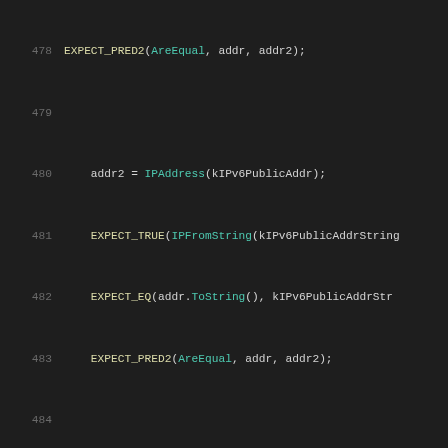[Figure (screenshot): Source code viewer showing lines 478-499 of a C++ unit test file with syntax highlighting. Lines show IPAddress testing code including EXPECT_PRED2, EXPECT_TRUE, EXPECT_EQ macros and broken IP string test cases.]